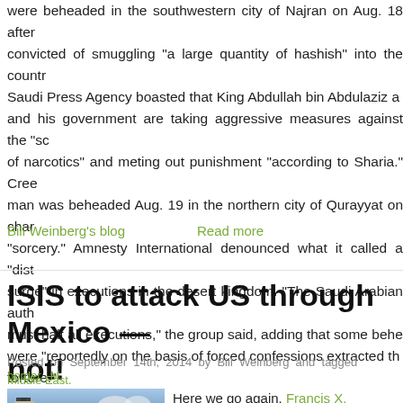were beheaded in the southwestern city of Najran on Aug. 18 after convicted of smuggling "a large quantity of hashish" into the country. Saudi Press Agency boasted that King Abdullah bin Abdulaziz and his government are taking aggressive measures against the "scourge of narcotics" and meting out punishment "according to Sharia." Creepily, a man was beheaded Aug. 19 in the northern city of Qurayyat on charges of "sorcery." Amnesty International denounced what it called a "disturbing surge" in executions in the desert kingdom. "The Saudi Arabian authorities must halt all executions," the group said, adding that some beheadings were "reportedly on the basis of forced confessions extracted through torture."
Bill Weinberg's blog    Read more
ISIS to attack US through Mexico — or not!
Posted on September 14th, 2014 by Bill Weinberg and tagged border, Middle East.
Here we go again. Francis X. under-secretary for intelligence analysis at the Departm...
[Figure (photo): Photo showing a sign with Arabic script, with a soldier or figure in the background against a cloudy sky]